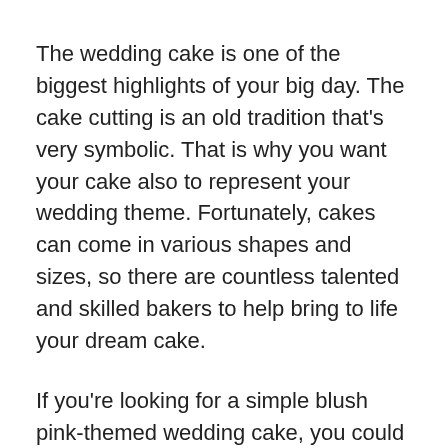The wedding cake is one of the biggest highlights of your big day. The cake cutting is an old tradition that's very symbolic. That is why you want your cake also to represent your wedding theme. Fortunately, cakes can come in various shapes and sizes, so there are countless talented and skilled bakers to help bring to life your dream cake.
If you're looking for a simple blush pink-themed wedding cake, you could always go for the traditional white-coloured cake with decorative pink flowers running along the sides. If you want to be a little more creative, the inside of the cake can be made pink. This will certainly bring out your wedding theme during the cutting cake